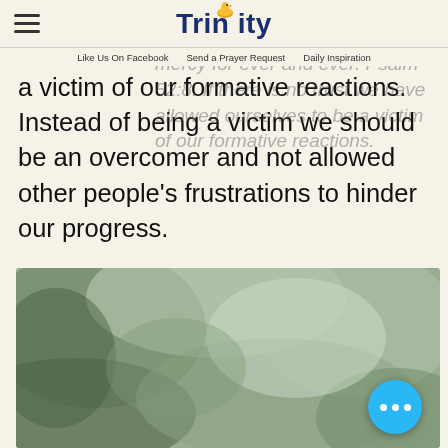Trinity (logo with bird icon) | Like Us On Facebook  Send a Prayer Request  Daily Inspiration
to be a green olive tree in the house of God, trusting in His mercy forever and ever. Psalm 52:8. If there is no trust we have allowed ourselves to be a victim of our formative reactions. Instead of being a victim we should be an overcomer and not allowed other people's frustrations to hinder our progress.
[Figure (photo): A blurred outdoor photo, likely showing greenery or trees in a soft-focus nature scene.]